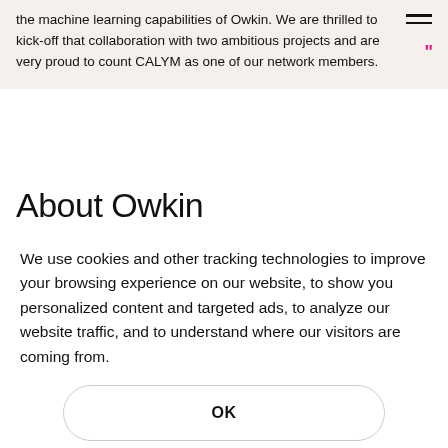the machine learning capabilities of Owkin. We are thrilled to kick-off that collaboration with two ambitious projects and are very proud to count CALYM as one of our network members.
About Owkin
We use cookies and other tracking technologies to improve your browsing experience on our website, to show you personalized content and targeted ads, to analyze our website traffic, and to understand where our visitors are coming from.
OK
Change my preferences